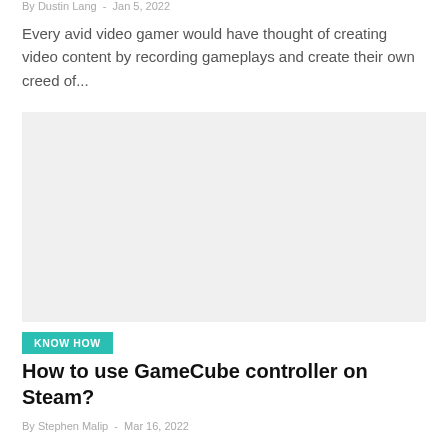By Dustin Lang  -  Jan 5, 2022
Every avid video gamer would have thought of creating video content by recording gameplays and create their own creed of...
[Figure (photo): Article thumbnail image placeholder (light gray rectangle)]
KNOW HOW
How to use GameCube controller on Steam?
By Stephen Malip  -  Mar 16, 2022